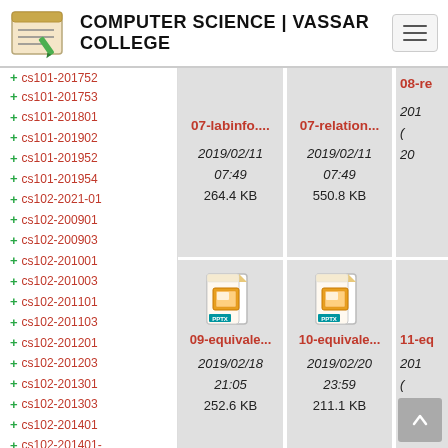COMPUTER SCIENCE | VASSAR COLLEGE
cs101-201753
cs101-201801
cs101-201902
cs101-201952
cs101-201954
cs102-2021-01
cs102-200901
cs102-200903
cs102-201001
cs102-201003
cs102-201101
cs102-201103
cs102-201201
cs102-201203
cs102-201301
cs102-201303
cs102-201401
cs102-201401-
[Figure (screenshot): File grid showing PPTX files: 07-labinfo....(264.4KB, 2019/02/11 07:49), 07-relation...(550.8KB, 2019/02/11 07:49), 08-re...(partially visible), 09-equivale...(252.6KB, 2019/02/18 21:05), 10-equivale...(211.1KB, 2019/02/20 23:59), 11-eq... (partially visible)]